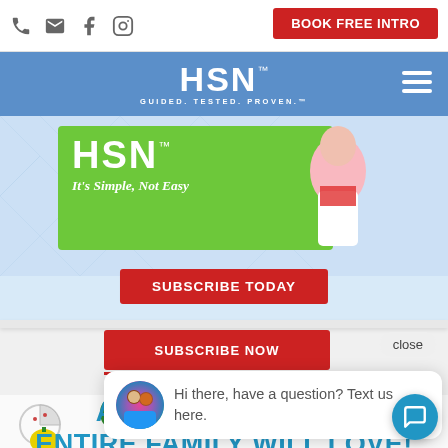BOOK FREE INTRO
[Figure (logo): HSN logo with tagline GUIDED. TESTED. PROVEN. on blue navigation bar]
[Figure (screenshot): HSN banner with green background showing HSN logo and tagline It's Simple, Not Easy with a person in white pants in background, and SUBSCRIBE TODAY red button]
SUBSCRIBE NOW
close
Hi there, have a question? Text us here.
A COOKBOOK THE ENTIRE FAMILY WILL LOVE!